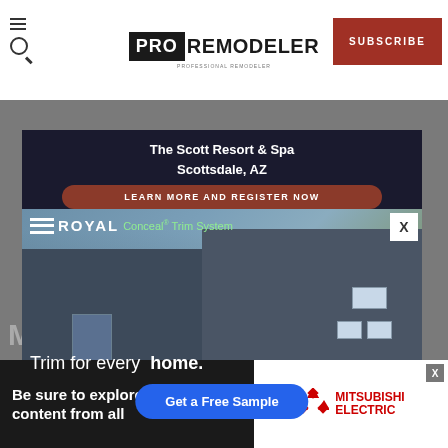PRO REMODELER | SUBSCRIBE
[Figure (screenshot): Website screenshot showing Pro Remodeler magazine website with popup advertisement for Royal Conceal Trim System showing a craftsman house with blue siding, text 'Trim for every home.' and 'Get a Free Sample' button, overlaid on main content. Bottom shows secondary popup with 'Be sure to explore content from all' and Mitsubishi Electric ad.]
MORE
PRODUCT
Top 1
The i audi
The Scott Resort & Spa Scottsdale, AZ
LEARN MORE AND REGISTER NOW
ROYAL Conceal Trim System
Trim for every home.
Get a Free Sample
Be sure to explore content from all
MITSUBISHI ELECTRIC